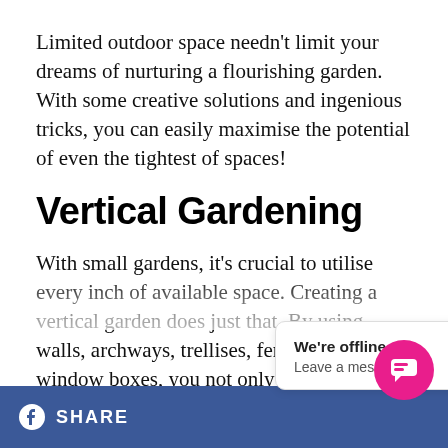Limited outdoor space needn't limit your dreams of nurturing a flourishing garden. With some creative solutions and ingenious tricks, you can easily maximise the potential of even the tightest of spaces!
Vertical Gardening
With small gardens, it's crucial to utilise every inch of available space. Creating a vertical garden does just that. By using walls, archways, trellises, fences, and window boxes, you not only maximise your potential growing area but adding height to the garden also creates the illusion of space by drawing the eye
We're offline
Leave a message
f SHARE